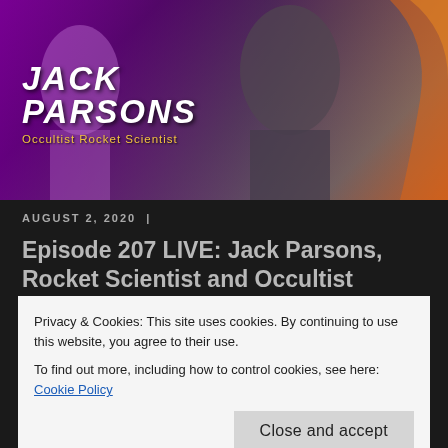[Figure (photo): Hero image for Jack Parsons podcast episode showing a stylized purple-tinted photo of a man in a suit with text overlay reading 'JACK PARSONS Occultist Rocket Scientist']
AUGUST 2, 2020  |
Episode 207 LIVE: Jack Parsons, Rocket Scientist and Occultist
On tonight's fun livestream, Tom and Jenny discuss the original rocket man, Jack Parsons
Privacy & Cookies: This site uses cookies. By continuing to use this website, you agree to their use.
To find out more, including how to control cookies, see here: Cookie Policy
Close and accept
the occult, and was a high ranking devotee of